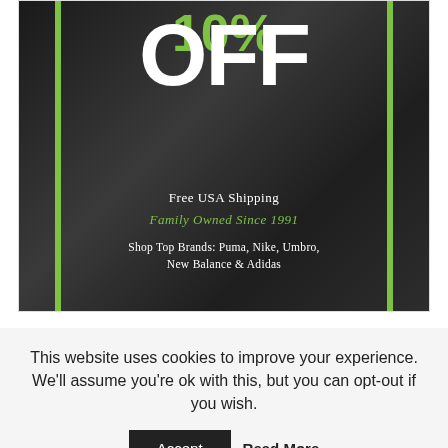[Figure (illustration): Sports store advertisement on dark textured background with green vertical border bars. Large white 'OFF' text, green '10%' text above, white 'Free USA Shipping', green italic 'Family Owned Since 1991', white 'Shop Top Brands: Puma, Nike, Umbro, New Balance & Adidas']
This website uses cookies to improve your experience. We'll assume you're ok with this, but you can opt-out if you wish.
Accept    Read More